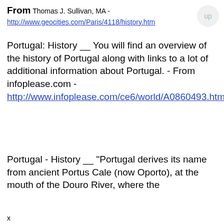From Thomas J. Sullivan, MA - http://www.geocities.com/Paris/4118/history.htm
Portugal: History __ You will find an overview of the history of Portugal along with links to a lot of additional information about Portugal. - From infoplease.com - http://www.infoplease.com/ce6/world/A0860493.html
Portugal - History __ "Portugal derives its name from ancient Portus Cale (now Oporto), at the mouth of the Douro River, where the
x